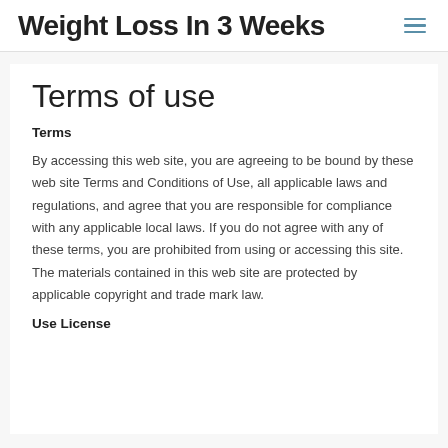Weight Loss In 3 Weeks
Terms of use
Terms
By accessing this web site, you are agreeing to be bound by these web site Terms and Conditions of Use, all applicable laws and regulations, and agree that you are responsible for compliance with any applicable local laws. If you do not agree with any of these terms, you are prohibited from using or accessing this site. The materials contained in this web site are protected by applicable copyright and trade mark law.
Use License